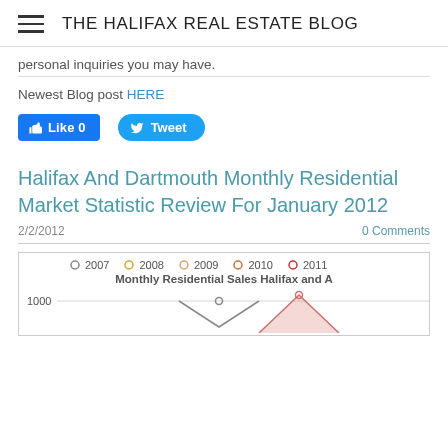THE HALIFAX REAL ESTATE BLOG
personal inquiries you may have.
Newest Blog post HERE
[Figure (infographic): Facebook Like button (0 likes) and Twitter Tweet button]
Halifax And Dartmouth Monthly Residential Market Statistic Review For January 2012
2/2/2012    0 Comments
[Figure (line-chart): Partial view of a multi-series line chart with years 2007, 2008, 2009, 2010, 2011 as series. Y-axis shows 1000. Chart is cut off at bottom.]